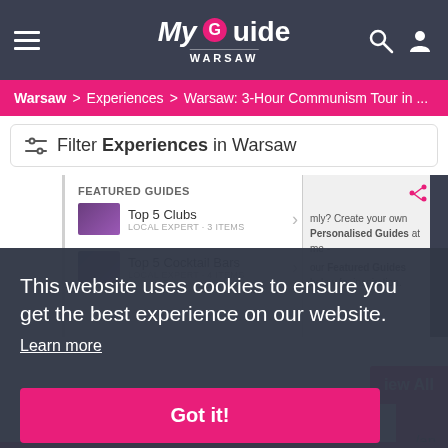My Guide WARSAW
Warsaw > Experiences > Warsaw: 3-Hour Communism Tour in ...
Filter Experiences in Warsaw
FEATURED GUIDES
Top 5 Clubs LOCAL EXPERT · 3 ITEMS
Top 5 Cocktail Bars LOCAL EXPERT · 4 ITEMS
mly? Create your own Personalised Guides at me - our Featured Guides below for inspiration.
This website uses cookies to ensure you get the best experience on our website.
Learn more
Got it!
iew All
Van